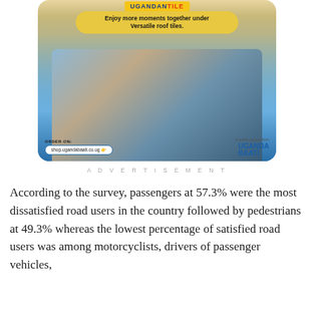[Figure (illustration): Uganda Baati advertisement showing a family of three sitting together on a couch watching TV, with a yellow speech bubble tagline 'Enjoy more moments together under Versatile roof tiles.' The ad includes ordering info 'ORDER ON: shop.ugandabaati.co.ug' and the Uganda Baati logo at bottom right.]
ADVERTISEMENT
According to the survey, passengers at 57.3% were the most dissatisfied road users in the country followed by pedestrians at 49.3% whereas the lowest percentage of satisfied road users was among motorcyclists, drivers of passenger vehicles,